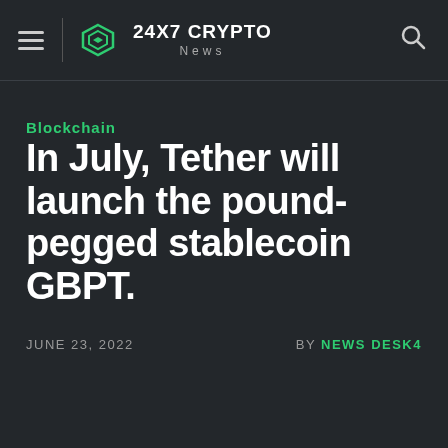24X7 CRYPTO News
Blockchain
In July, Tether will launch the pound-pegged stablecoin GBPT.
JUNE 23, 2022   BY NEWS DESK4